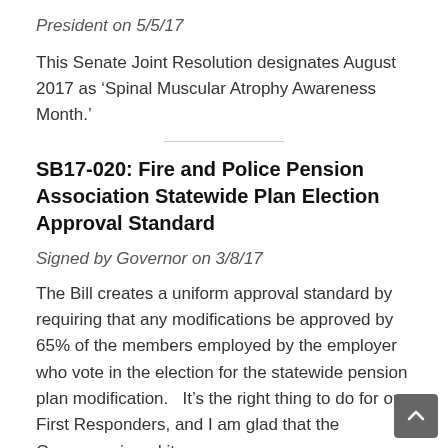President on 5/5/17
This Senate Joint Resolution designates August 2017 as ‘Spinal Muscular Atrophy Awareness Month.’
SB17-020: Fire and Police Pension Association Statewide Plan Election Approval Standard
Signed by Governor on 3/8/17
The Bill creates a uniform approval standard by requiring that any modifications be approved by 65% of the members employed by the employer who vote in the election for the statewide pension plan modification.   It’s the right thing to do for our First Responders, and I am glad that the Governor signed it.